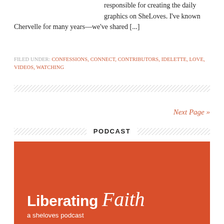responsible for creating the daily graphics on SheLoves. I've known Chervelle for many years—we've shared [...]
FILED UNDER: CONFESSIONS, CONNECT, CONTRIBUTORS, IDELETTE, LOVE, VIDEOS, WATCHING
Next Page »
PODCAST
[Figure (illustration): Orange/red podcast cover image with white text reading 'Liberating Faith' (with Faith in script) and 'a sheloves podcast' below]